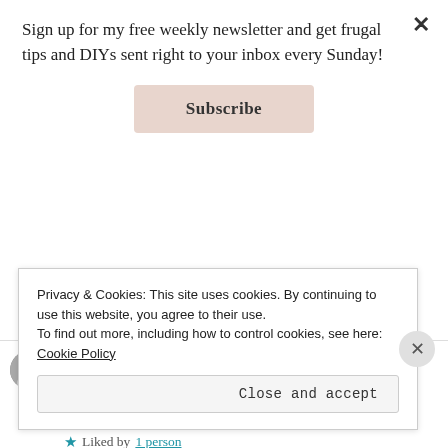Sign up for my free weekly newsletter and get frugal tips and DIYs sent right to your inbox every Sunday!
Subscribe
December 11, 2018 at 1:22 pm
Yes! I had to stay away from those. There were even chicken maple donuts! 🤔
Liked by 1 person
Privacy & Cookies: This site uses cookies. By continuing to use this website, you agree to their use.
To find out more, including how to control cookies, see here: Cookie Policy
Close and accept